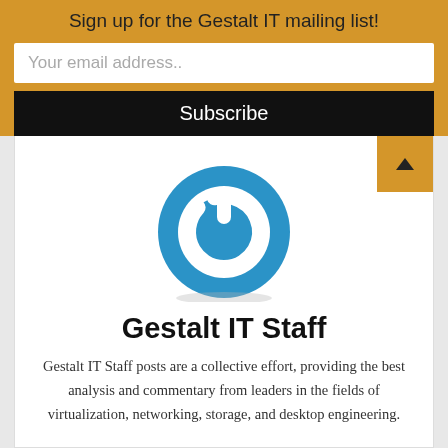Sign up for the Gestalt IT mailing list!
Your email address..
Subscribe
[Figure (logo): Gestalt IT logo: blue circle with white power button symbol]
Gestalt IT Staff
Gestalt IT Staff posts are a collective effort, providing the best analysis and commentary from leaders in the fields of virtualization, networking, storage, and desktop engineering.
View all posts